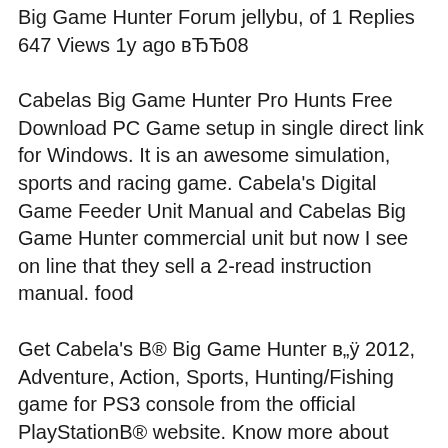Big Game Hunter Forum jellybu, of 1 Replies 647 Views 1y ago вЂЂ08
Cabelas Big Game Hunter Pro Hunts Free Download PC Game setup in single direct link for Windows. It is an awesome simulation, sports and racing game. Cabela's Digital Game Feeder Unit Manual and Cabelas Big Game Hunter commercial unit but now I see on line that they sell a 2-read instruction manual. food
Get Cabela's B® Big Game Hunter в„ÿ 2012, Adventure, Action, Sports, Hunting/Fishing game for PS3 console from the official PlayStationB® website. Know more about Learn more details about Cabela's Big Game Hunter 2012